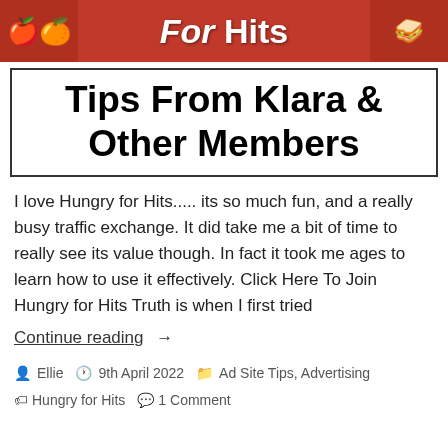[Figure (illustration): Red banner with food imagery (fruits on left, sandwich on right) and stylized cursive text 'For Hits' in white]
Tips From Klara & Other Members
I love Hungry for Hits..... its so much fun, and a really busy traffic exchange. It did take me a bit of time to really see its value though. In fact it took me ages to learn how to use it effectively. Click Here To Join Hungry for Hits Truth is when I first tried
Continue reading  →
Ellie  9th April 2022  Ad Site Tips, Advertising  Hungry for Hits  1 Comment